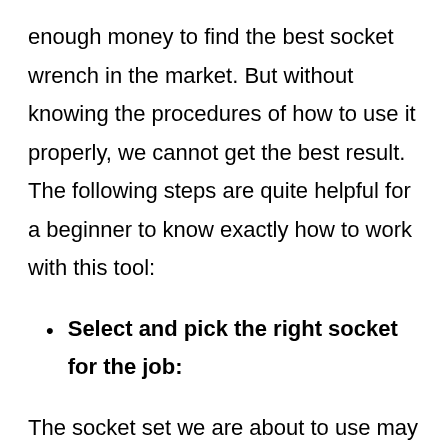enough money to find the best socket wrench in the market. But without knowing the procedures of how to use it properly, we cannot get the best result. The following steps are quite helpful for a beginner to know exactly how to work with this tool:
Select and pick the right socket for the job:
The socket set we are about to use may contain a number of sockets for different sorts of jobs. Before starting the work we should be aware of the size of